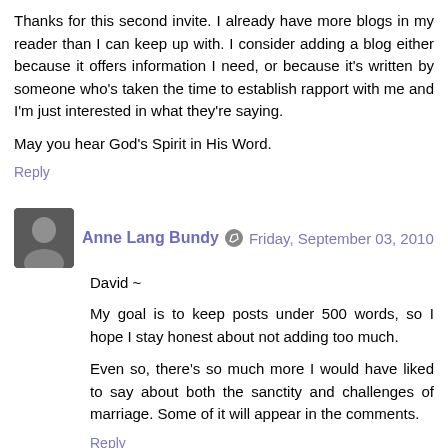Thanks for this second invite. I already have more blogs in my reader than I can keep up with. I consider adding a blog either because it offers information I need, or because it's written by someone who's taken the time to establish rapport with me and I'm just interested in what they're saying.
May you hear God's Spirit in His Word.
Reply
Anne Lang Bundy  Friday, September 03, 2010
David ~
My goal is to keep posts under 500 words, so I hope I stay honest about not adding too much.
Even so, there's so much more I would have liked to say about both the sanctity and challenges of marriage. Some of it will appear in the comments.
Reply